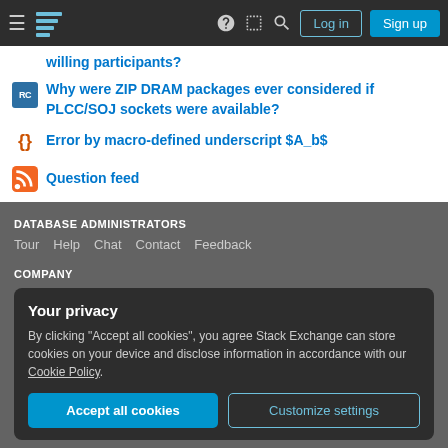Database Administrators Stack Exchange — navigation bar with Log in and Sign up buttons
willing participants?
Why were ZIP DRAM packages ever considered if PLCC/SOJ sockets were available?
Error by macro-defined underscript $A_b$
Question feed
DATABASE ADMINISTRATORS
Tour   Help   Chat   Contact   Feedback
COMPANY
Your privacy
By clicking "Accept all cookies", you agree Stack Exchange can store cookies on your device and disclose information in accordance with our Cookie Policy.
Accept all cookies   Customize settings